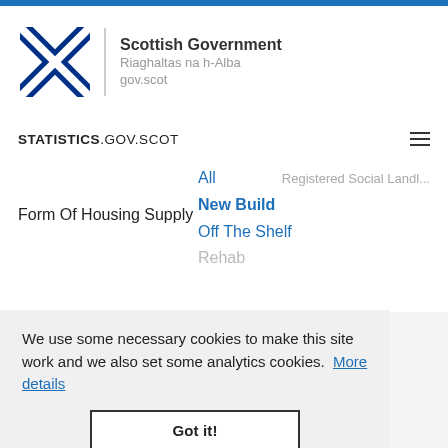[Figure (logo): Scottish Government logo with Saltire flag and text: Scottish Government, Riaghaltas na h-Alba, gov.scot]
STATISTICS.GOV.SCOT
Registered Social Landl...
Form Of Housing Supply
All
New Build
Off The Shelf
Rehab
Reference Period ...
2000-Q1
2000-Q2
2000-Q3
2000-Q4
2001-Q1
2001-Q2
2001-Q3
We use some necessary cookies to make this site work and we also set some analytics cookies. More details
Got it!